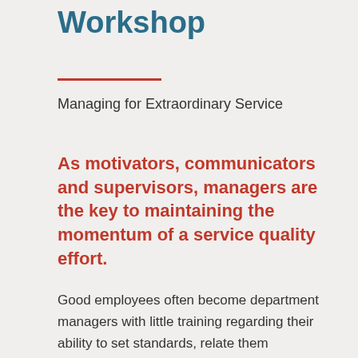Workshop
Managing for Extraordinary Service
As motivators, communicators and supervisors, managers are the key to maintaining the momentum of a service quality effort.
Good employees often become department managers with little training regarding their ability to set standards, relate them effectively to employees, and ensure that those standards